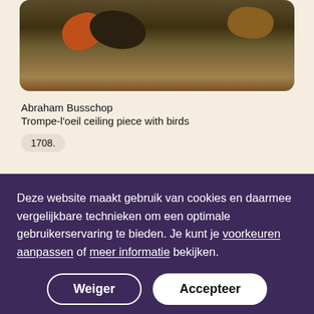[Figure (photo): Painting of trompe-l'oeil ceiling piece with birds, dark background with orange and brown birds]
Abraham Busschop
Trompe-l'oeil ceiling piece with birds
1708.
Deze website maakt gebruik van cookies en daarmee vergelijkbare technieken om een optimale gebruikerservaring te bieden. Je kunt je voorkeuren aanpassen of meer informatie bekijken.
Weiger
Accepteer